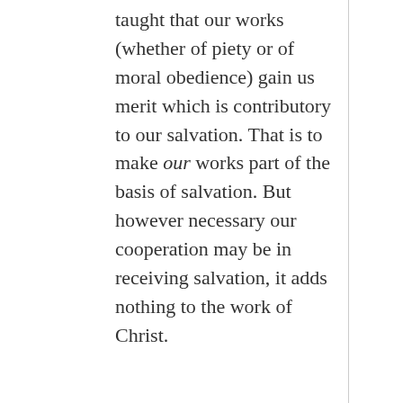taught that our works (whether of piety or of moral obedience) gain us merit which is contributory to our salvation. That is to make our works part of the basis of salvation. But however necessary our cooperation may be in receiving salvation, it adds nothing to the work of Christ.